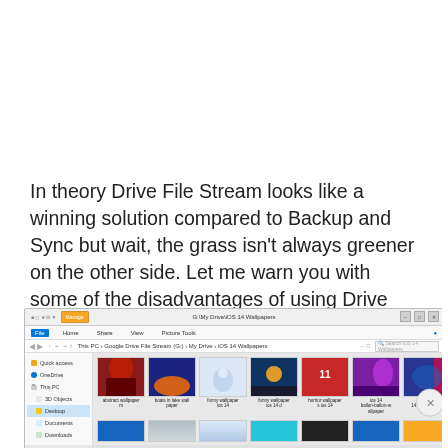In theory Drive File Stream looks like a winning solution compared to Backup and Sync but wait, the grass isn't always greener on the other side. Let me warn you with some of the disadvantages of using Drive File Stream.
[Figure (screenshot): Windows File Explorer screenshot showing Google Drive File Stream (G:) > My Drive > iOS 14 Wallpapers folder with a grid of wallpaper image thumbnails. The window shows a navigation sidebar, address bar with path 'This PC > Google Drive File Stream (G:) > My Drive > iOS 14 Wallpapers', and a grid of colorful wallpaper thumbnails with filenames below each.]